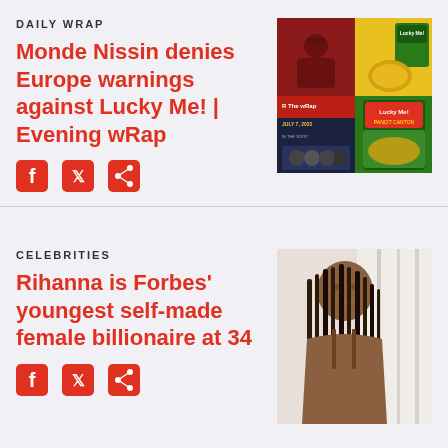DAILY WRAP
Monde Nissin denies Europe warnings against Lucky Me! | Evening wRap
[Figure (photo): Collage image showing The wRap thumbnail with JULY 7, 2022 date, Lucky Me! noodles product, and K-pop group photo]
[Figure (infographic): Social share icons: Facebook, Twitter, Share]
CELEBRITIES
Rihanna is Forbes' youngest self-made female billionaire at 34
[Figure (photo): Photo of Rihanna with braided hair, wearing a strappy outfit, posing against a light background]
[Figure (infographic): Social share icons: Facebook, Twitter, Share]